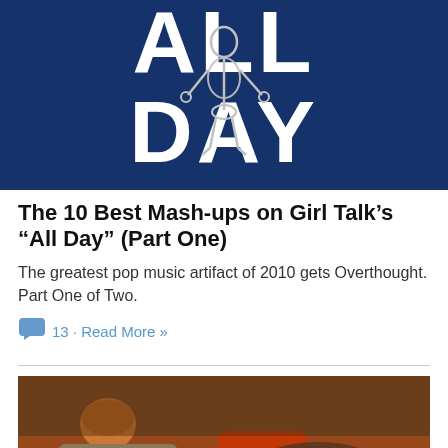[Figure (photo): Album art or promotional image for Girl Talk's 'All Day' — large white text 'ALL DAY' on a deep blue background with a skeleton figure dancing]
The 10 Best Mash-ups on Girl Talk's “All Day” (Part One)
The greatest pop music artifact of 2010 gets Overthought. Part One of Two.
13 · Read More »
[Figure (photo): A child with reddish hair lying on a couch in a warmly lit room]